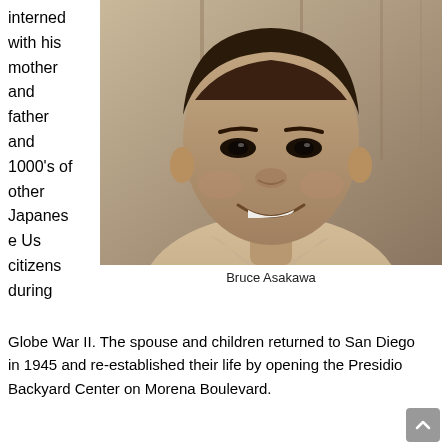interned with his mother and father and 1000's of other Japanese Us citizens during
[Figure (photo): Black and white portrait photo of Bruce Asakawa, a smiling Japanese-American man wearing a collared shirt, close-up face and shoulders shot.]
Bruce Asakawa
Globe War II. The spouse and children returned to San Diego in 1945 and re-established their life by opening the Presidio Backyard Center on Morena Boulevard.